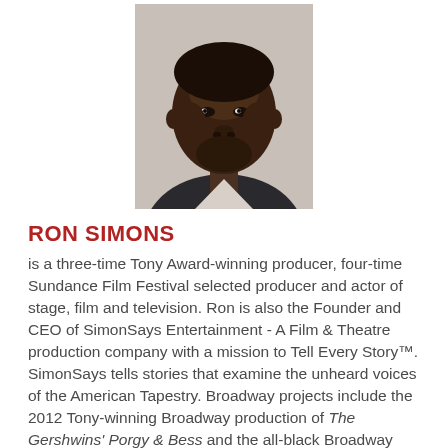[Figure (photo): Headshot photograph of Ron Simons, a man in a dark suit with a white shirt, looking directly at the camera against a light background.]
RON SIMONS
is a three-time Tony Award-winning producer, four-time Sundance Film Festival selected producer and actor of stage, film and television. Ron is also the Founder and CEO of SimonSays Entertainment - A Film & Theatre production company with a mission to Tell Every Story™. SimonSays tells stories that examine the unheard voices of the American Tapestry. Broadway projects include the 2012 Tony-winning Broadway production of The Gershwins' Porgy & Bess and the all-black Broadway production of A Streetcar Named